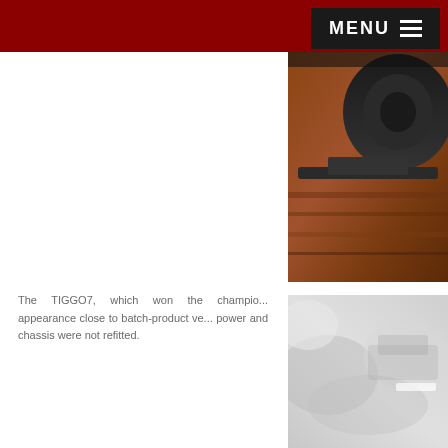MENU
[Figure (photo): Underside/wheel of TIGGO7 SUV driving on dirt/mud terrain, close-up action shot from below]
The TIGGO7, which won the championship, appearance close to batch-product ve... power and chassis were not refitted.
[Figure (photo): TIGGO7 SUV driving through smoky or dusty conditions, motion blur visible]